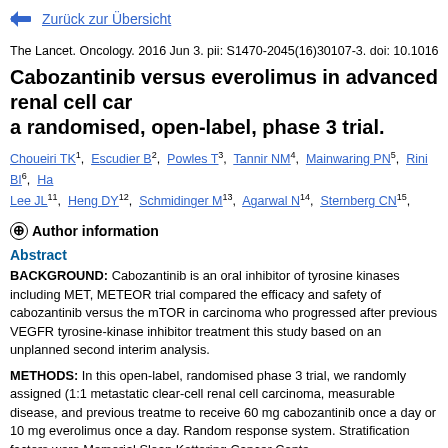← Zurück zur Übersicht
The Lancet. Oncology. 2016 Jun 3. pii: S1470-2045(16)30107-3. doi: 10.1016/S1470-2045(
Cabozantinib versus everolimus in advanced renal cell carcinoma: a randomised, open-label, phase 3 trial.
Choueiri TK1, Escudier B2, Powles T3, Tannir NM4, Mainwaring PN5, Rini BI6, Ha... Lee JL11, Heng DY12, Schmidinger M13, Agarwal N14, Sternberg CN15, McDerme... Schwab G20, Hutson TE21, Pal S22, Motzer RJ23
⊕ Author information
Abstract
BACKGROUND: Cabozantinib is an oral inhibitor of tyrosine kinases including MET, METEOR trial compared the efficacy and safety of cabozantinib versus the mTOR in carcinoma who progressed after previous VEGFR tyrosine-kinase inhibitor treatment this study based on an unplanned second interim analysis.
METHODS: In this open-label, randomised phase 3 trial, we randomly assigned (1:1 metastatic clear-cell renal cell carcinoma, measurable disease, and previous treatme to receive 60 mg cabozantinib once a day or 10 mg everolimus once a day. Random response system. Stratification factors were Memorial Sloan Kettering Cancer Cente